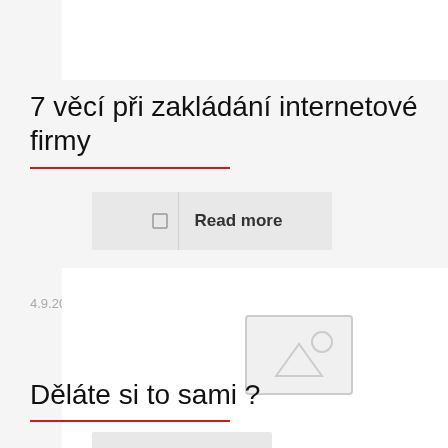7 věcí při zakládání internetové firmy
[Figure (screenshot): Read more button with icon and bold text]
4.9.2015
[Figure (photo): Image placeholder icon (mountain and sun)]
Děláte si to sami ?